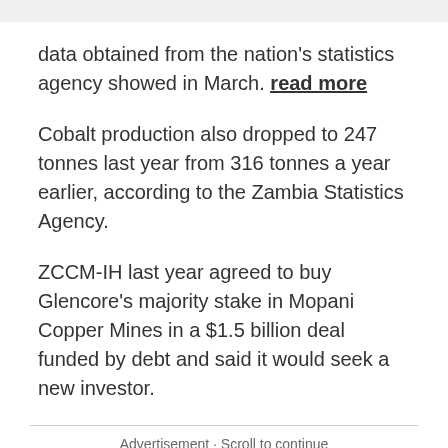data obtained from the nation's statistics agency showed in March. read more
Cobalt production also dropped to 247 tonnes last year from 316 tonnes a year earlier, according to the Zambia Statistics Agency.
ZCCM-IH last year agreed to buy Glencore's majority stake in Mopani Copper Mines in a $1.5 billion deal funded by debt and said it would seek a new investor.
Advertisement · Scroll to continue